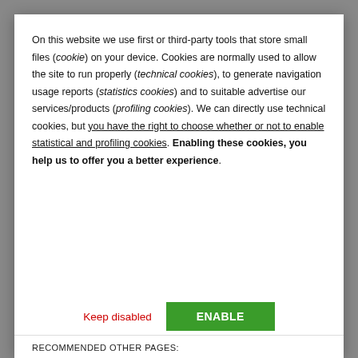On this website we use first or third-party tools that store small files (cookie) on your device. Cookies are normally used to allow the site to run properly (technical cookies), to generate navigation usage reports (statistics cookies) and to suitable advertise our services/products (profiling cookies). We can directly use technical cookies, but you have the right to choose whether or not to enable statistical and profiling cookies. Enabling these cookies, you help us to offer you a better experience.
Keep disabled
ENABLE
RECOMMENDED OTHER PAGES: